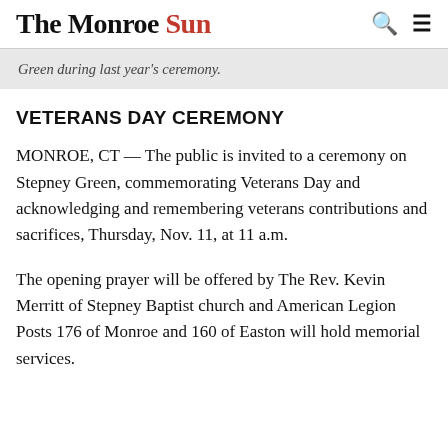The Monroe Sun
Green during last year's ceremony.
VETERANS DAY CEREMONY
MONROE, CT — The public is invited to a ceremony on Stepney Green, commemorating Veterans Day and acknowledging and remembering veterans contributions and sacrifices, Thursday, Nov. 11, at 11 a.m.
The opening prayer will be offered by The Rev. Kevin Merritt of Stepney Baptist church and American Legion Posts 176 of Monroe and 160 of Easton will hold memorial services.